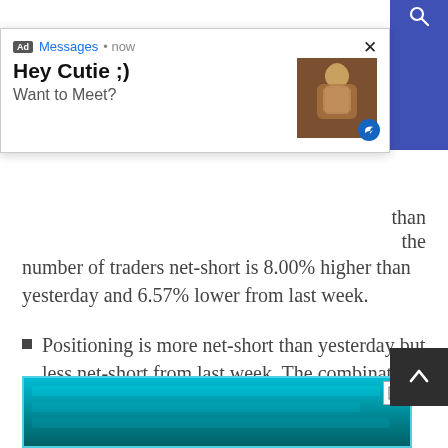[Figure (screenshot): Ad popup overlay showing 'Messages • now' header with close X button, title 'Hey Cutie ;)' and subtitle 'Want to Meet?' with a thumbnail photo and reply button]
the number of traders net-short is 8.00% higher than yesterday and 6.57% lower from last week.
Positioning is more net-short than yesterday but less net-short from last week. The combination of current sentiment and recent changes gives us a further mixed EUR/GBP trading bias.
— Written by Richard Snow for DailyFX.com
Contact and follow Richard on Twitter: @RichardSnowFX
[Figure (screenshot): Bottom advertisement image with teal/cyan background, partially visible]
[Figure (screenshot): Back to top button (dark background with up arrow) on right side]